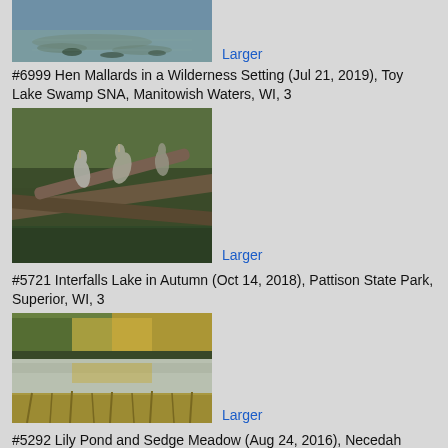[Figure (photo): Partial view of a pond with lily pads and water reflections]
Larger
#6999 Hen Mallards in a Wilderness Setting (Jul 21, 2019), Toy Lake Swamp SNA, Manitowish Waters, WI, 3
[Figure (photo): Herons perched on fallen logs in a wilderness swamp setting]
Larger
#5721 Interfalls Lake in Autumn (Oct 14, 2018), Pattison State Park, Superior, WI, 3
[Figure (photo): Autumn foliage reflected in a calm lake with marsh grasses in foreground]
Larger
#5292 Lily Pond and Sedge Meadow (Aug 24, 2016), Necedah NWR, Tomah, WI, 3